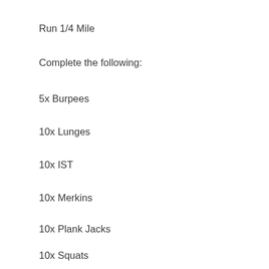Run 1/4 Mile
Complete the following:
5x Burpees
10x Lunges
10x IST
10x Merkins
10x Plank Jacks
10x Squats